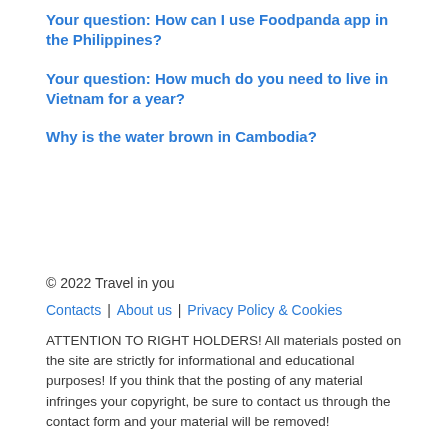Your question: How can I use Foodpanda app in the Philippines?
Your question: How much do you need to live in Vietnam for a year?
Why is the water brown in Cambodia?
© 2022 Travel in you
Contacts | About us | Privacy Policy & Cookies
ATTENTION TO RIGHT HOLDERS! All materials posted on the site are strictly for informational and educational purposes! If you think that the posting of any material infringes your copyright, be sure to contact us through the contact form and your material will be removed!